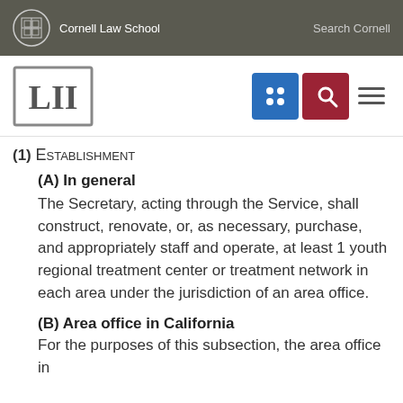Cornell Law School | Search Cornell
[Figure (logo): LII Legal Information Institute logo with Cornell Law School header and navigation icons]
(1) Establishment
(A) In general
The Secretary, acting through the Service, shall construct, renovate, or, as necessary, purchase, and appropriately staff and operate, at least 1 youth regional treatment center or treatment network in each area under the jurisdiction of an area office.
(B) Area office in California
For the purposes of this subsection, the area office in